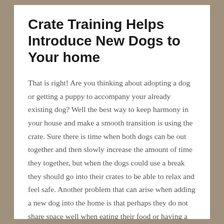Crate Training Helps Introduce New Dogs to Your home
That is right! Are you thinking about adopting a dog or getting a puppy to accompany your already existing dog? Well the best way to keep harmony in your house and make a smooth transition is using the crate. Sure there is time when both dogs can be out together and then slowly increase the amount of time they together, but when the dogs could use a break they should go into their crates to be able to relax and feel safe. Another problem that can arise when adding a new dog into the home is that perhaps they do not share space well when eating their food or having a bone or toy. The crate solves that issue as well. Your dogs should be getting fed and have their own supply of water in their crate, along with any safe toys or bones that they do not share well. You can also